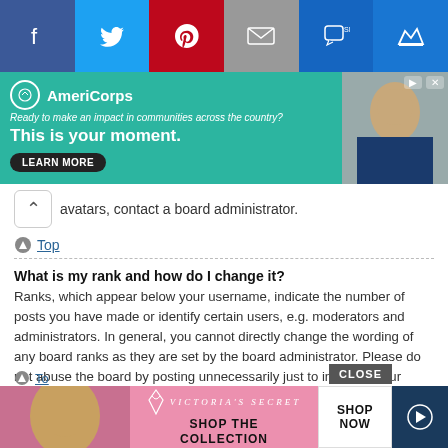[Figure (screenshot): Social media sharing bar with Facebook, Twitter, Pinterest, Email, SMS, and Crown icons]
[Figure (screenshot): AmeriCorps advertisement banner: 'Ready to make an impact in communities across the country? This is your moment. LEARN MORE']
avatars, contact a board administrator.
Top
What is my rank and how do I change it?
Ranks, which appear below your username, indicate the number of posts you have made or identify certain users, e.g. moderators and administrators. In general, you cannot directly change the wording of any board ranks as they are set by the board administrator. Please do not abuse the board by posting unnecessarily just to increase your rank. Most boards will not tolerate this and the moderator or administrator will simply lower your post count.
[Figure (screenshot): Victoria's Secret advertisement: 'SHOP THE COLLECTION' with SHOP NOW button]